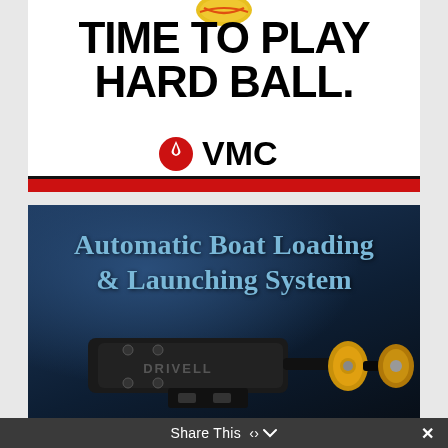[Figure (illustration): VMC fishing brand advertisement with bold text 'TIME TO PLAY HARD BALL.' and VMC logo with red and black branding stripe at bottom]
[Figure (photo): Advertisement for Automatic Boat Loading & Launching System showing a black mechanical boat loading device with yellow roller components on a dark blue background]
Share This  ∨  ✕